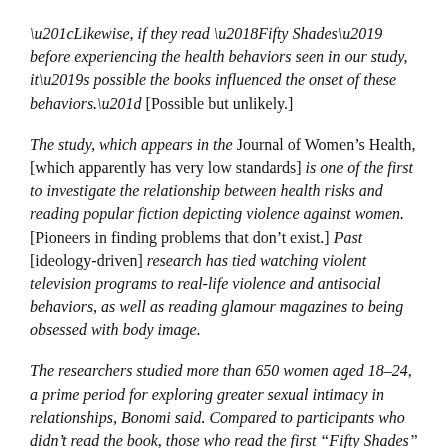“Likewise, if they read ‘Fifty Shades’ before experiencing the health behaviors seen in our study, it’s possible the books influenced the onset of these behaviors.” [Possible but unlikely.]
The study, which appears in the Journal of Women’s Health, [which apparently has very low standards] is one of the first to investigate the relationship between health risks and reading popular fiction depicting violence against women. [Pioneers in finding problems that don’t exist.] Past [ideology-driven] research has tied watching violent television programs to real-life violence and antisocial behaviors, as well as reading glamour magazines to being obsessed with body image.
The researchers studied more than 650 women aged 18–24, a prime period for exploring greater sexual intimacy in relationships, Bonomi said. Compared to participants who didn’t read the book, those who read the first “Fifty Shades” novel were 25 percent more likely to have a partner who yelled or swore at them; 34 percent